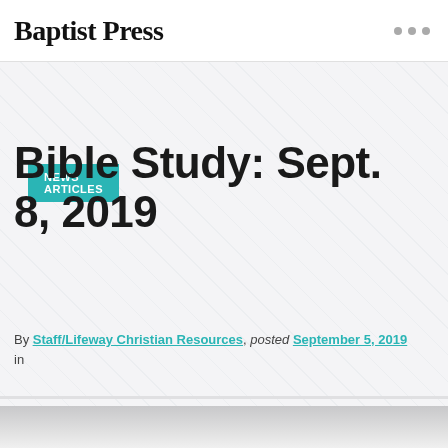Baptist Press
NEWS ARTICLES
Bible Study: Sept. 8, 2019
By Staff/Lifeway Christian Resources, posted September 5, 2019 in
[Figure (photo): Partial photo visible at bottom of page, light-toned image]